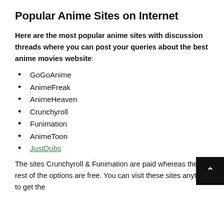Popular Anime Sites on Internet
Here are the most popular anime sites with discussion threads where you can post your queries about the best anime movies website:
GoGoAnime
AnimeFreak
AnimeHeaven
Crunchyroll
Funimation
AnimeToon
JustDubs
The sites Crunchyroll & Funimation are paid whereas the rest of the options are free. You can visit these sites anytime to get the